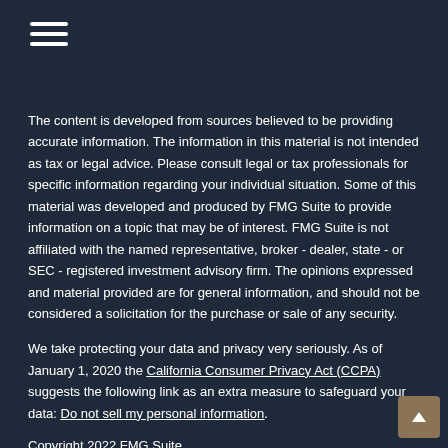Navigation menu (hamburger icon)
The content is developed from sources believed to be providing accurate information. The information in this material is not intended as tax or legal advice. Please consult legal or tax professionals for specific information regarding your individual situation. Some of this material was developed and produced by FMG Suite to provide information on a topic that may be of interest. FMG Suite is not affiliated with the named representative, broker - dealer, state - or SEC - registered investment advisory firm. The opinions expressed and material provided are for general information, and should not be considered a solicitation for the purchase or sale of any security.
We take protecting your data and privacy very seriously. As of January 1, 2020 the California Consumer Privacy Act (CCPA) suggests the following link as an extra measure to safeguard your data: Do not sell my personal information.
Copyright 2022 FMG Suite.
Securities and Advisory Services offered through Centaurus Financial, Inc., Member FINRA and SIPC, and a Registered Investment Advisor. Castle Wealth Group, LLC and Centaurus Financial, Inc. are not affiliated. Supervisory Branch: 540 Fort Evans Road NE, Suite 200, Leesburg, VA 20176 (800) 880-4234 Investment products and services available only to residents of: CO, FL, GA, IN, MD, MI, MO, NY, NC, OK, PA, SC, TN, VA. This is not an offer to sell securities, which may be done after proper delivery of a prospectus and client suitability has been reviewed and determined. Information relating to securities is intended for use by individuals residing in: CO, FL, GA, MI, MO, NJ, NY, NC, OH, PA, SC, TN, VA.